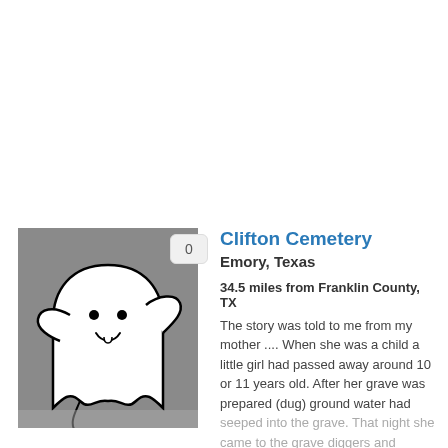[Figure (illustration): A ghost illustration (cartoon friendly ghost in white on gray background) with a badge showing '0' in the top right corner]
Clifton Cemetery
Emory, Texas
34.5 miles from Franklin County, TX
The story was told to me from my mother .... When she was a child a little girl had passed away around 10 or 11 years old. After her grave was prepared (dug) ground water had seeped into the grave. That night she came to the grave diggers and warned ....